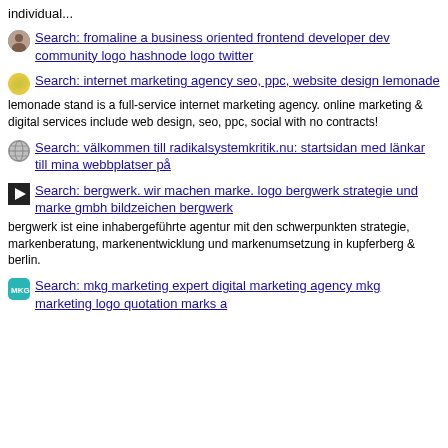individual...
Search: fromaline a business oriented frontend developer dev community logo hashnode logo twitter
Search: internet marketing agency seo, ppc, website design lemonade
lemonade stand is a full-service internet marketing agency. online marketing & digital services include web design, seo, ppc, social with no contracts!
Search: välkommen till radikalsystemkritik.nu: startsidan med länkar till mina webbplatser på
Search: bergwerk. wir machen marke. logo bergwerk strategie und marke gmbh bildzeichen bergwerk
bergwerk ist eine inhabergeführte agentur mit den schwerpunkten strategie, markenberatung, markenentwicklung und markenumsetzung in kupferberg & berlin.
Search: mkg marketing expert digital marketing agency mkg marketing logo quotation marks a